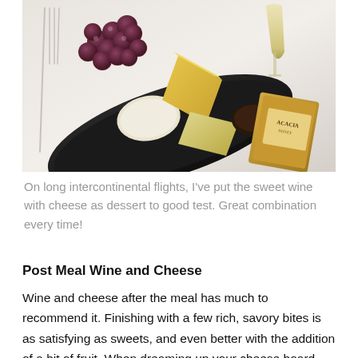[Figure (photo): A cheese board on a black tray with grapes, multiple types of cheese, and an Acacia honey jar, alongside a glass of white wine on a white tablecloth.]
On long intercontinental flights, I've put the sweet wine with cheese as dessert to good test. Great combination every time!
Post Meal Wine and Cheese
Wine and cheese after the meal has much to recommend it. Finishing with a few rich, savory bites is as satisfying as sweets, and even better with the addition of a bit of fruit. When dreaming up your cheese board, think of a combination of different milks, different textures, and